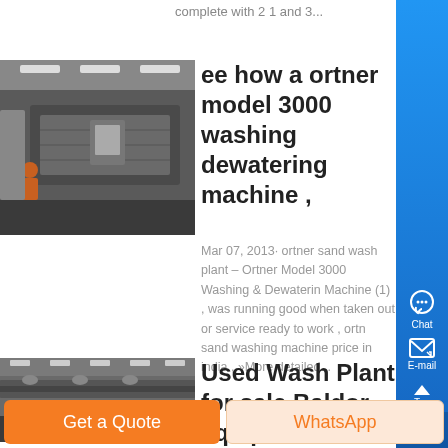complete with 2 1 and 3...
[Figure (photo): Industrial washing and dewatering machine in a factory/plant setting]
ee how a ortner model 3000 washing dewatering machine ,
Mar 07, 2013· ortner sand wash plant – Ortner Model 3000 Washing & Dewatering Machine (1) , was running good when taken out or service ready to work , ortner sand washing machine price in india , »More detailed...
[Figure (photo): Used wash plant facility interior, conveyor or water treatment equipment]
Used Wash Plant for sale Baldor equipmen
Get a Quote
WhatsApp